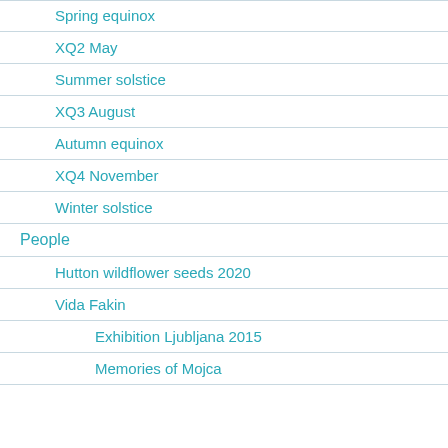Spring equinox
XQ2 May
Summer solstice
XQ3 August
Autumn equinox
XQ4 November
Winter solstice
People
Hutton wildflower seeds 2020
Vida Fakin
Exhibition Ljubljana 2015
Memories of Mojca